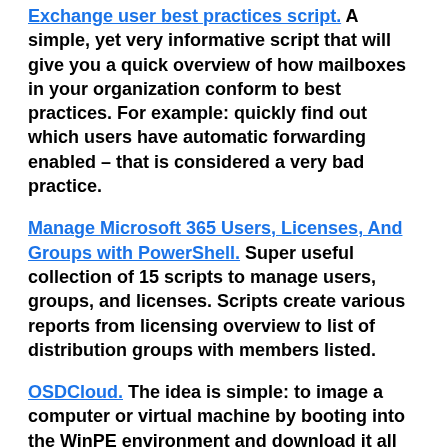Exchange user best practices script. A simple, yet very informative script that will give you a quick overview of how mailboxes in your organization conform to best practices. For example: quickly find out which users have automatic forwarding enabled – that is considered a very bad practice.
Manage Microsoft 365 Users, Licenses, And Groups with PowerShell. Super useful collection of 15 scripts to manage users, groups, and licenses. Scripts create various reports from licensing overview to list of distribution groups with members listed.
OSDCloud. The idea is simple: to image a computer or virtual machine by booting into the WinPE environment and download it all from the cloud. In less than 10 minutes.
Understanding the Impact of Latency on Office 365 Service Performance. Do you know what is the main problem with using public DNS services instead of your ISP's? Your ISP's